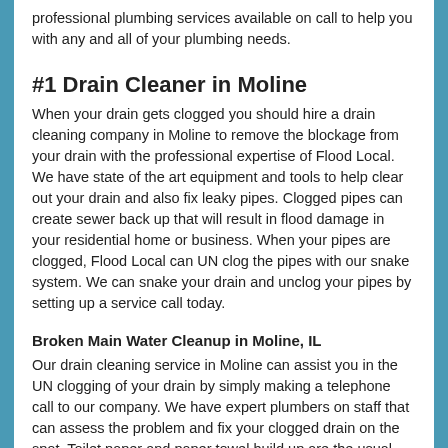professional plumbing services available on call to help you with any and all of your plumbing needs.
#1 Drain Cleaner in Moline
When your drain gets clogged you should hire a drain cleaning company in Moline to remove the blockage from your drain with the professional expertise of Flood Local. We have state of the art equipment and tools to help clear out your drain and also fix leaky pipes. Clogged pipes can create sewer back up that will result in flood damage in your residential home or business. When your pipes are clogged, Flood Local can UN clog the pipes with our snake system. We can snake your drain and unclog your pipes by setting up a service call today.
Broken Main Water Cleanup in Moline, IL
Our drain cleaning service in Moline can assist you in the UN clogging of your drain by simply making a telephone call to our company. We have expert plumbers on staff that can assess the problem and fix your clogged drain on the spot. Toilet paper and paper towel build up are the usual reason for the clog or back up of a drain. With our expert plumbers in Moline we can be on site within 90 minutes